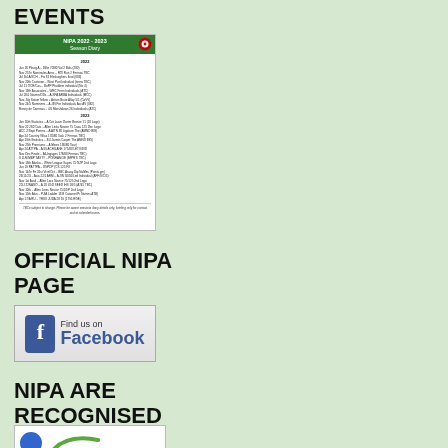EVENTS
[Figure (other): NIPA 2022-2023 Season Diary document image showing a schedule of events in a green-headered booklet format with a logo]
OFFICIAL NIPA PAGE
[Figure (other): Find us on Facebook button/logo in blue and grey]
NIPA ARE RECOGNISED BY SPORT NI
[Figure (logo): Sport NI logo showing a blue circle and swoosh/checkmark]